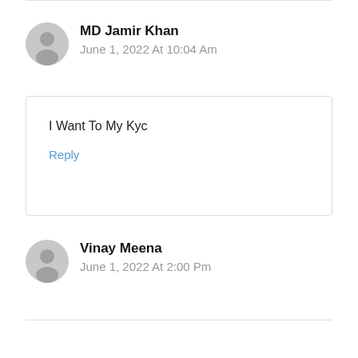MD Jamir Khan
June 1, 2022 At 10:04 Am
I Want To My Kyc
Reply
Vinay Meena
June 1, 2022 At 2:00 Pm